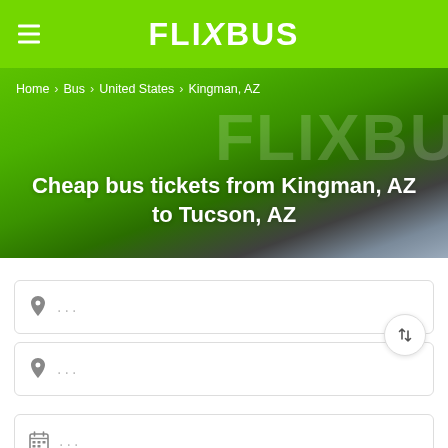FlixBus
[Figure (photo): FlixBus green bus hero banner with breadcrumb navigation showing Home > Bus > United States > Kingman, AZ]
Cheap bus tickets from Kingman, AZ to Tucson, AZ
... (origin location input field)
... (destination location input field)
... (date input field)
... (partial fourth input field)